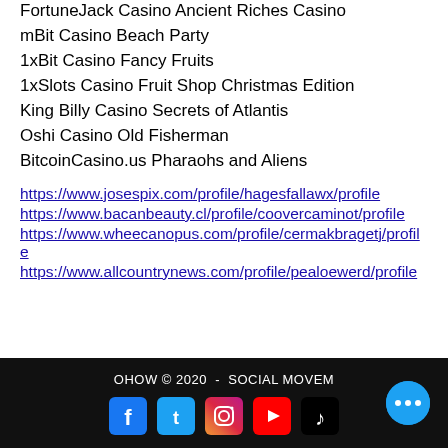FortuneJack Casino Ancient Riches Casino
mBit Casino Beach Party
1xBit Casino Fancy Fruits
1xSlots Casino Fruit Shop Christmas Edition
King Billy Casino Secrets of Atlantis
Oshi Casino Old Fisherman
BitcoinCasino.us Pharaohs and Aliens
https://www.josespix.com/profile/hagesfallawx/profile
https://www.bacanbeauty.cl/profile/coovercaminot/profile
https://www.wheecanopus.com/profile/cermakbragetj/profile
https://www.allcountrynews.com/profile/pealoewerd/profile
OHOW © 2020  -  SOCIAL MOVEM...